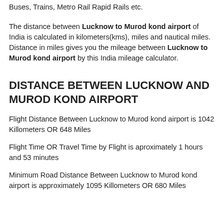Buses, Trains, Metro Rail Rapid Rails etc.
The distance between Lucknow to Murod kond airport of India is calculated in kilometers(kms), miles and nautical miles. Distance in miles gives you the mileage between Lucknow to Murod kond airport by this India mileage calculator.
DISTANCE BETWEEN LUCKNOW AND MUROD KOND AIRPORT
Flight Distance Between Lucknow to Murod kond airport is 1042 Killometers OR 648 Miles
Flight Time OR Travel Time by Flight is aproximately 1 hours and 53 minutes
Minimum Road Distance Between Lucknow to Murod kond airport is approximately 1095 Killometers OR 680 Miles